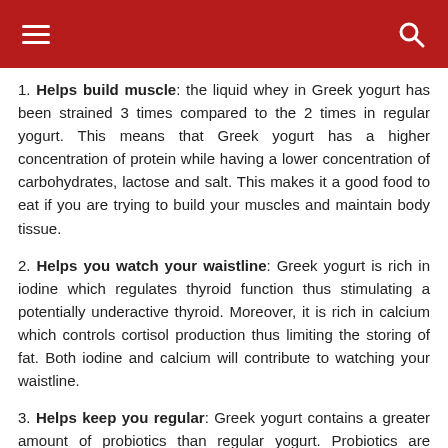Navigation header with hamburger menu and search icon
1. Helps build muscle: the liquid whey in Greek yogurt has been strained 3 times compared to the 2 times in regular yogurt. This means that Greek yogurt has a higher concentration of protein while having a lower concentration of carbohydrates, lactose and salt. This makes it a good food to eat if you are trying to build your muscles and maintain body tissue.
2. Helps you watch your waistline: Greek yogurt is rich in iodine which regulates thyroid function thus stimulating a potentially underactive thyroid. Moreover, it is rich in calcium which controls cortisol production thus limiting the storing of fat. Both iodine and calcium will contribute to watching your waistline.
3. Helps keep you regular: Greek yogurt contains a greater amount of probiotics than regular yogurt. Probiotics are microorganisms that reduce harmful bacteria in the human gut thus improving gut functioning and digestion. Eating one portion of Greek yogurt a day will keep you regular and you will stop feeling off.